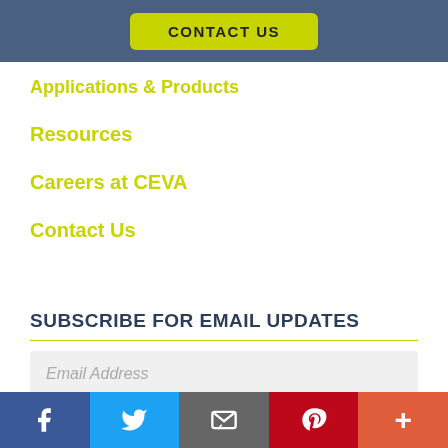CONTACT US
Applications & Products
Resources
Careers at CEVA
Contact Us
SUBSCRIBE FOR EMAIL UPDATES
Email Address
SUBSCRIBE
[Figure (infographic): Social media share bar with icons for Facebook, Twitter, Email, Pinterest, and More (+)]